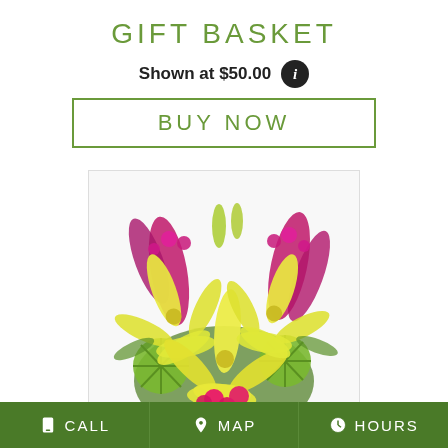GIFT BASKET
Shown at $50.00
BUY NOW
[Figure (photo): Colorful floral arrangement featuring yellow lilies, magenta/purple stock flowers, pink roses, and green spider mums in a bouquet]
CALL  MAP  HOURS